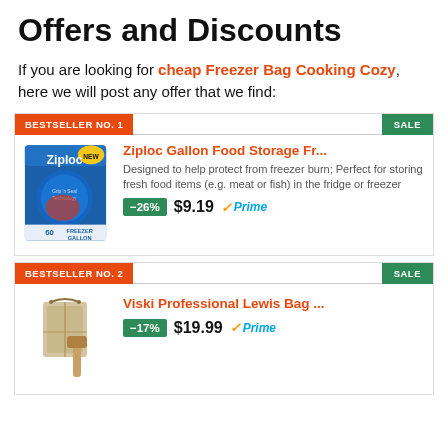Offers and Discounts
If you are looking for cheap Freezer Bag Cooking Cozy, here we will post any offer that we find:
BESTSELLER NO. 1 | SALE
Ziploc Gallon Food Storage Fr...
Designed to help protect from freezer burn; Perfect for storing fresh food items (e.g. meat or fish) in the fridge or freezer
-26% $9.19 Prime
BESTSELLER NO. 2 | SALE
Viski Professional Lewis Bag ...
-17% $19.99 Prime